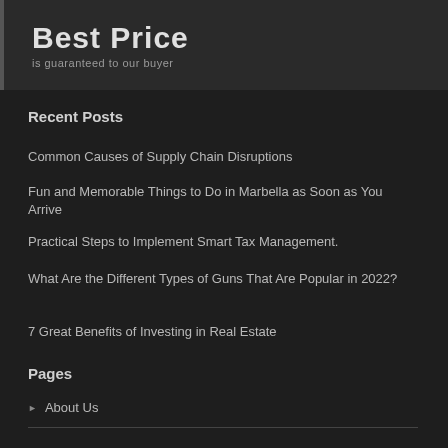[Figure (other): Dark banner with bold 'Best Price' heading and subtitle 'is guaranteed to our buyer']
Recent Posts
Common Causes of Supply Chain Disruptions
Fun and Memorable Things to Do in Marbella as Soon as You Arrive
Practical Steps to Implement Smart Tax Management.
What Are the Different Types of Guns That Are Popular in 2022?
7 Great Benefits of Investing in Real Estate
Pages
About Us